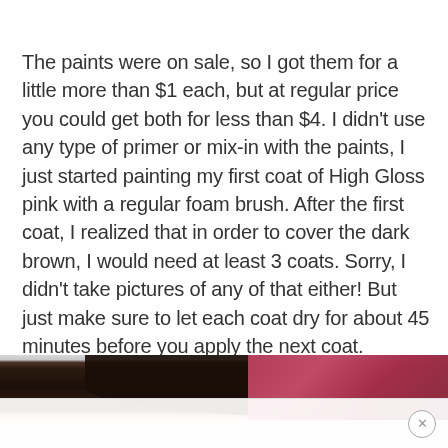The paints were on sale, so I got them for a little more than $1 each, but at regular price you could get both for less than $4. I didn't use any type of primer or mix-in with the paints, I just started painting my first coat of High Gloss pink with a regular foam brush. After the first coat, I realized that in order to cover the dark brown, I would need at least 3 coats. Sorry, I didn't take pictures of any of that either! But just make sure to let each coat dry for about 45 minutes before you apply the next coat. {Between loads of laundry works great!}
[Figure (photo): Partially visible photo showing a dark bowl/container and a pink paint brush or object, with pink/white reflective surface below, cut off at bottom of page. An ad banner with close button overlays the bottom portion.]